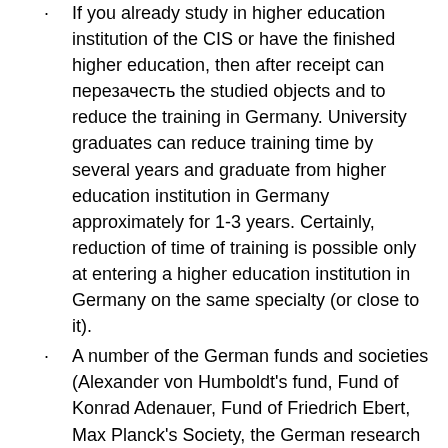If you already study in higher education institution of the CIS or have the finished higher education, then after receipt can перезачесть the studied objects and to reduce the training in Germany. University graduates can reduce training time by several years and graduate from higher education institution in Germany approximately for 1-3 years. Certainly, reduction of time of training is possible only at entering a higher education institution in Germany on the same specialty (or close to it).
A number of the German funds and societies (Alexander von Humboldt's fund, Fund of Konrad Adenauer, Fund of Friedrich Ebert, Max Planck's Society, the German research society) provides to foreign students and scientists special grants for carrying out scientific researches and professional development.
How to enter to the private university of Germany? Receipt terms
As it is possible to begin study in higher education institution in Germany with any semester (winter – begins in September-October or summer – in March-April), there are two terms of documents acceptance.